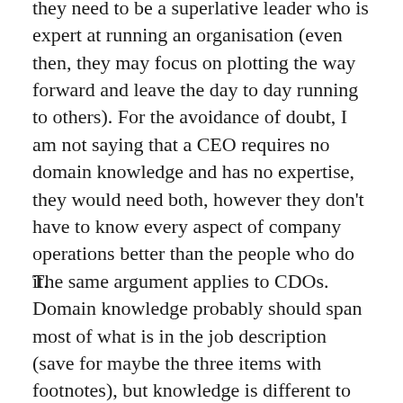they need to be a superlative leader who is expert at running an organisation (even then, they may focus on plotting the way forward and leave the day to day running to others). For the avoidance of doubt, I am not saying that a CEO requires no domain knowledge and has no expertise, they would need both, however they don't have to know every aspect of company operations better than the people who do it.
The same argument applies to CDOs. Domain knowledge probably should span most of what is in the job description (save for maybe the three items with footnotes), but knowledge is different to expertise. As CDOs don't grow on trees, they will most likely be experts in one or a few of the areas cited, but not all of them.